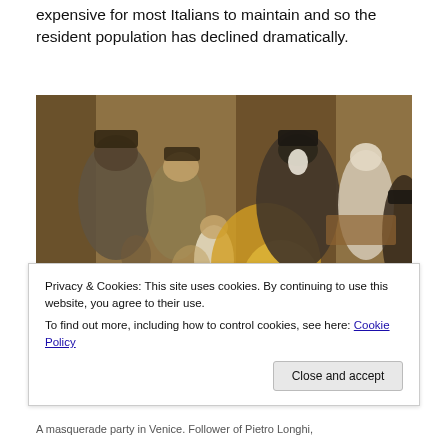expensive for most Italians to maintain and so the resident population has declined dramatically.
[Figure (photo): A masquerade party in Venice, painting by Follower of Pietro Longhi, showing masked figures in elaborate costumes in an interior setting.]
Privacy & Cookies: This site uses cookies. By continuing to use this website, you agree to their use.
To find out more, including how to control cookies, see here: Cookie Policy
A masquerade party in Venice. Follower of Pietro Longhi,